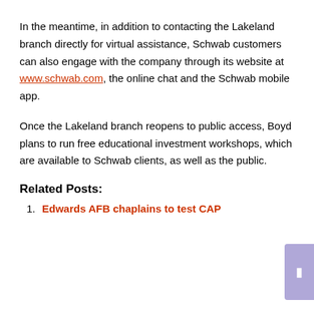In the meantime, in addition to contacting the Lakeland branch directly for virtual assistance, Schwab customers can also engage with the company through its website at www.schwab.com, the online chat and the Schwab mobile app.
Once the Lakeland branch reopens to public access, Boyd plans to run free educational investment workshops, which are available to Schwab clients, as well as the public.
Related Posts:
1. Edwards AFB chaplains to test CAP